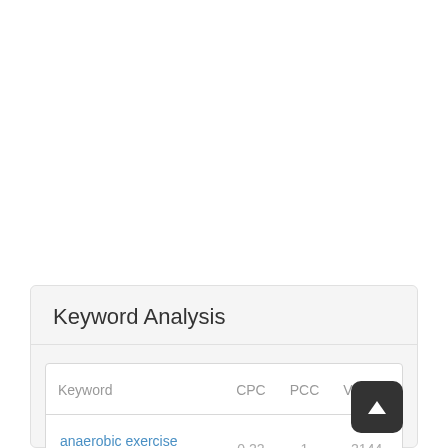Keyword Analysis
| Keyword | CPC | PCC | Volume |
| --- | --- | --- | --- |
| anaerobic exercise definition | 0.22 | 1 | 2144 |
| anaerobic | 1.31 | 0.2 | 9763 |
| exercise | 1.44 | 0.2 | 584 |
| definition | 0.14 | 0.1 | 4… |